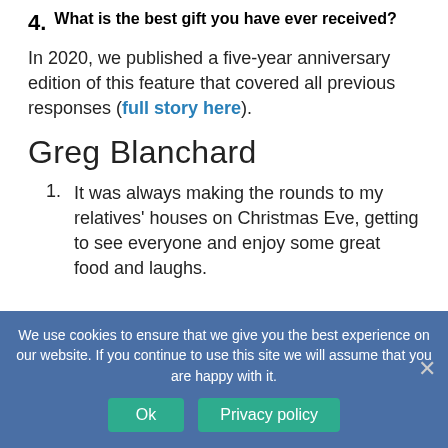4. What is the best gift you have ever received?
In 2020, we published a five-year anniversary edition of this feature that covered all previous responses (full story here).
Greg Blanchard
1. It was always making the rounds to my relatives' houses on Christmas Eve, getting to see everyone and enjoy some great food and laughs.
We use cookies to ensure that we give you the best experience on our website. If you continue to use this site we will assume that you are happy with it.